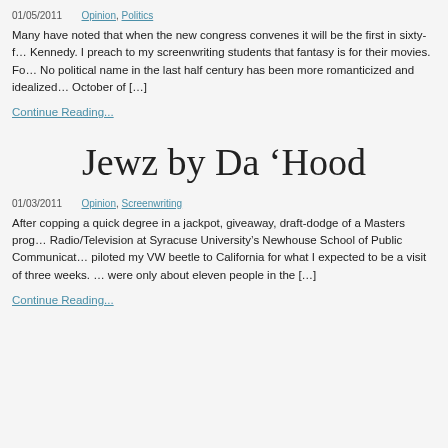01/05/2011   Opinion, Politics
Many have noted that when the new congress convenes it will be the first in sixty-f… Kennedy. I preach to my screenwriting students that fantasy is for their movies. Fo… No political name in the last half century has been more romanticized and idealized… October of […]
Continue Reading...
Jewz by Da ‘Hood
01/03/2011   Opinion, Screenwriting
After copping a quick degree in a jackpot, giveaway, draft-dodge of a Masters prog… Radio/Television at Syracuse University's Newhouse School of Public Communicat… piloted my VW beetle to California for what I expected to be a visit of three weeks. … were only about eleven people in the […]
Continue Reading...